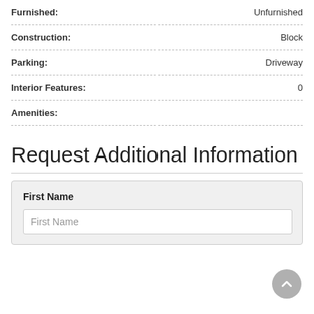Furnished: Unfurnished
Construction: Block
Parking: Driveway
Interior Features: 0
Amenities:
Request Additional Information
First Name
First Name